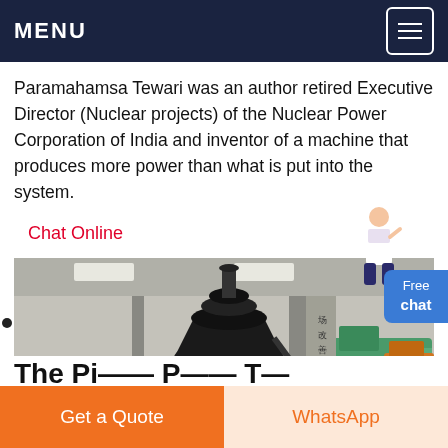MENU
Paramahamsa Tewari was an author retired Executive Director (Nuclear projects) of the Nuclear Power Corporation of India and inventor of a machine that produces more power than what is put into the system.
Chat Online
[Figure (photo): Industrial machinery - a large cone crusher or similar heavy equipment with red disc and flywheel, inside a factory/warehouse, with excavators and a car visible in the background. Chinese text on a pillar in the background.]
Get a Quote | WhatsApp